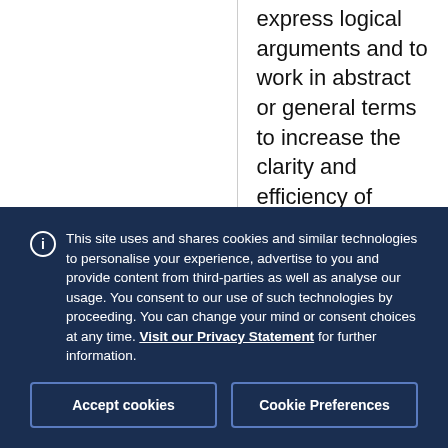express logical arguments and to work in abstract or general terms to increase the clarity and efficiency of analysis;
collaborative
This site uses and shares cookies and similar technologies to personalise your experience, advertise to you and provide content from third-parties as well as analyse our usage. You consent to our use of such technologies by proceeding. You can change your mind or consent choices at any time. Visit our Privacy Statement for further information.